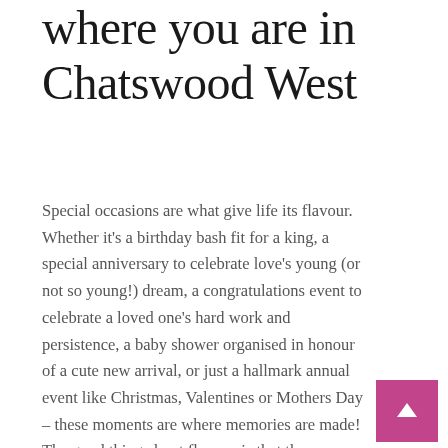where you are in Chatswood West
Special occasions are what give life its flavour. Whether it's a birthday bash fit for a king, a special anniversary to celebrate love's young (or not so young!) dream, a congratulations event to celebrate a loved one's hard work and persistence, a baby shower organised in honour of a cute new arrival, or just a hallmark annual event like Christmas, Valentines or Mothers Day – these moments are where memories are made! The good thing about flowers is that they represent a universal language of love, a way of showing everything from